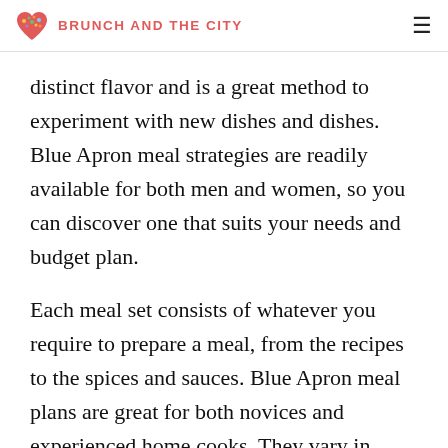BRUNCH AND THE CITY
distinct flavor and is a great method to experiment with new dishes and dishes. Blue Apron meal strategies are readily available for both men and women, so you can discover one that suits your needs and budget plan.
Each meal set consists of whatever you require to prepare a meal, from the recipes to the spices and sauces. Blue Apron meal plans are great for both novices and experienced home cooks. They vary in